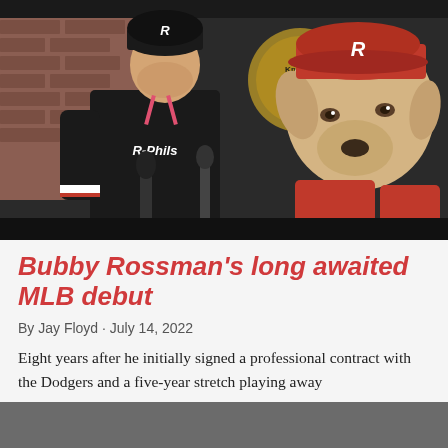[Figure (photo): A baseball player wearing a black R-Phils jersey and black cap with R logo stands in front of a painted mural of a yellow Labrador puppy wearing a red baseball cap with R logo. The player appears to be speaking into microphones. Background shows brick wall and a bottle cap logo reading 'Knights'.]
Bubby Rossman's long awaited MLB debut
By Jay Floyd · July 14, 2022
Eight years after he initially signed a professional contract with the Dodgers and a five-year stretch playing away